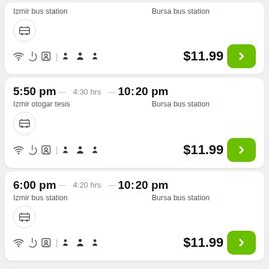[partial card top] Izmir bus station → Bursa bus station | $11.99
5:50 pm — 4:30 hrs — 10:20 pm | Izmir otogar tesis → Bursa bus station | $11.99
6:00 pm — 4:20 hrs — 10:20 pm | Izmir bus station → Bursa bus station | $11.99